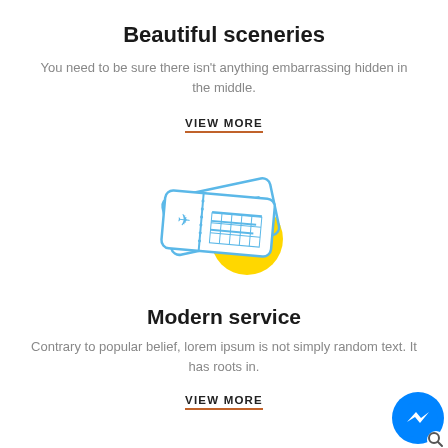Beautiful sceneries
You need to be sure there isn’t anything embarrassing hidden in the middle.
VIEW MORE
[Figure (illustration): Two overlapping airline tickets in blue outline style with a yellow circle accent]
Modern service
Contrary to popular belief, lorem ipsum is not simply random text. It has roots in.
VIEW MORE
[Figure (illustration): Blue circular Messenger chat button in bottom right corner]